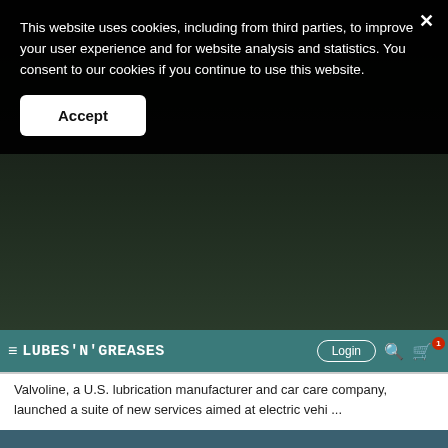This website uses cookies, including from third parties, to improve your user experience and for website analysis and statistics. You consent to our cookies if you continue to use this website.
Accept
LUBES'N'GREASES  Login
Valvoline, a U.S. lubrication manufacturer and car care company, launched a suite of new services aimed at electric vehi ...
[Figure (photo): Close-up photo of metallic engine pistons or mechanical components in teal/blue-gray tones]